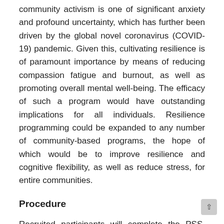community activism is one of significant anxiety and profound uncertainty, which has further been driven by the global novel coronavirus (COVID-19) pandemic. Given this, cultivating resilience is of paramount importance by means of reducing compassion fatigue and burnout, as well as promoting overall mental well-being. The efficacy of such a program would have outstanding implications for all individuals. Resilience programming could be expanded to any number of community-based programs, the hope of which would be to improve resilience and cognitive flexibility, as well as reduce stress, for entire communities.
Procedure
Recruited participants will complete the PSS, COFLEX, and CD-RISC prior to the outset of the training program. For ethical reasons, training group assignment will be on a first-come-first-served basis, and thus random